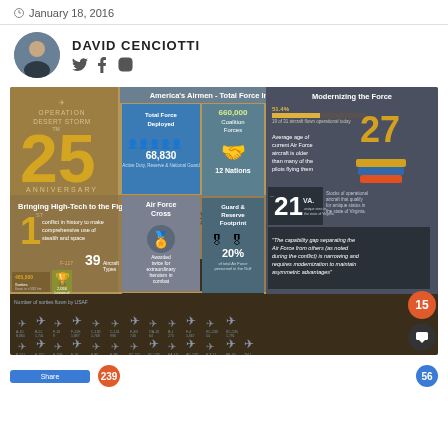January 18, 2016
DAVID CENCIOTTI
[Figure (infographic): Infographic titled 'Airpower in Operation Desert Storm' - Operation Desert Storm 25th Anniversary. Contains sections on: Bringing High-Tech to the Fight (1st conflict to use stealth and space, 39 aircraft types, 465,000 sorties, 9,300 sorties, 375, 5K+ GPS receivers, 2,066 items of interest), America's Airmen - Total Force Integration (Total Force Deployed 68,830 Active Duty Reserve & National Guard, 660,000 Coalition Forces, 12 Nations, Air Force Cross awarded, Guard & Reserve Footprint 20%), Modernizing the Force (51.4%, 19 of 31 aircraft flown operational today, average age 27, 21 VA., quote about capability gap), Number of sorties flown by USAF aircraft grid at bottom. #DESERTSTORM hashtag.]